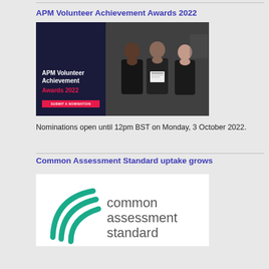APM Volunteer Achievement Awards 2022
[Figure (photo): APM Volunteer Achievement Awards 2022 promotional image: dark blue left panel with white bold text 'APM Volunteer Achievement Awards 2022' and red banner 'SUBMIT A NOMINATION'; right panel shows three people posing with a certificate at an event.]
Nominations open until 12pm BST on Monday, 3 October 2022.
Common Assessment Standard uptake grows
[Figure (logo): Common Assessment Standard logo: green curved swoosh lines on the left, grey text reading 'common assessment standard' on the right.]